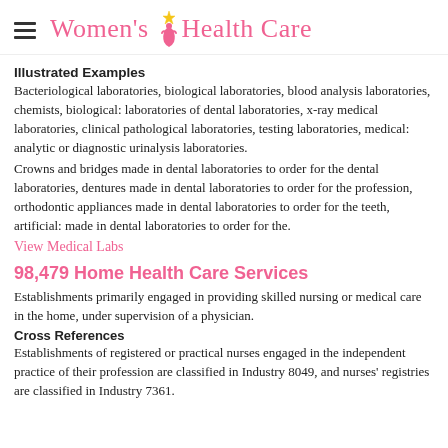Women's Health Care
Illustrated Examples
Bacteriological laboratories, biological laboratories, blood analysis laboratories, chemists, biological: laboratories of dental laboratories, x-ray medical laboratories, clinical pathological laboratories, testing laboratories, medical: analytic or diagnostic urinalysis laboratories.
Crowns and bridges made in dental laboratories to order for the dental laboratories, dentures made in dental laboratories to order for the profession, orthodontic appliances made in dental laboratories to order for the teeth, artificial: made in dental laboratories to order for the.
View Medical Labs
98,479 Home Health Care Services
Establishments primarily engaged in providing skilled nursing or medical care in the home, under supervision of a physician.
Cross References
Establishments of registered or practical nurses engaged in the independent practice of their profession are classified in Industry 8049, and nurses' registries are classified in Industry 7361.